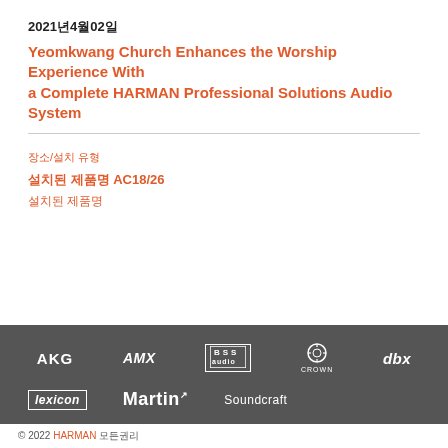2021년4월02일
Yeomkwang Church Enhances the Worship Experience With a Complete HARMAN Professional Solutions Audio System
장소/설치 유형
설치된 제품명 AC18/26
설치된 제품명
[Figure (logo): HARMAN Professional Solutions brand logos footer bar: AKG, AMX, BSS, Crown, dbx, Lexicon, Martin, Soundcraft on dark grey background]
© 2022 HARMAN 모든권리